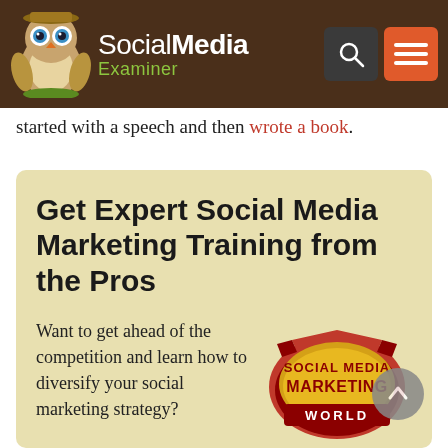[Figure (logo): Social Media Examiner website header with owl mascot logo, brand name 'SocialMedia Examiner' in white and green, dark brown background, search icon and hamburger menu icon on the right]
started with a speech and then wrote a book.
[Figure (infographic): Beige promotional box with heading 'Get Expert Social Media Marketing Training from the Pros', body text about competition and diversifying social marketing strategy, Social Media Marketing World logo on right side]
Learn from the industry's most trusted experts, rub elbows with other smart marketers, and